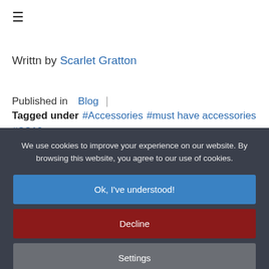☰
Writtn by Scarlet Gratton
Published in Blog | Tagged under #Accessories #must have accessories #SS18
We use cookies to improve your experience on our website. By browsing this website, you agree to our use of cookies.
Ok, I've understood!
Decline
Settings
More Info